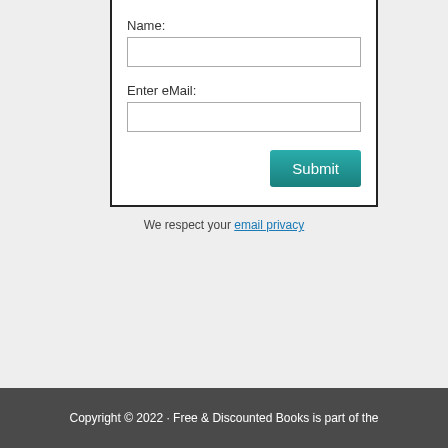[Figure (screenshot): A web form with Name and Enter eMail fields, a Submit button, and a 'We respect your email privacy' line below.]
We respect your email privacy
Copyright © 2022 · Free & Discounted Books is part of the